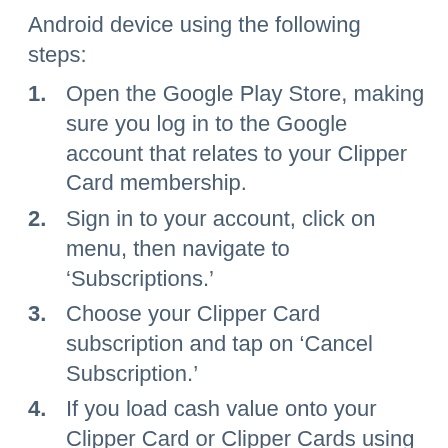Android device using the following steps:
1. Open the Google Play Store, making sure you log in to the Google account that relates to your Clipper Card membership.
2. Sign in to your account, click on menu, then navigate to ‘Subscriptions.’
3. Choose your Clipper Card subscription and tap on ‘Cancel Subscription.’
4. If you load cash value onto your Clipper Card or Clipper Cards using Autoload, double check with your payment provider that your payments have been discontinued.
5. Please contact Clipper customer service